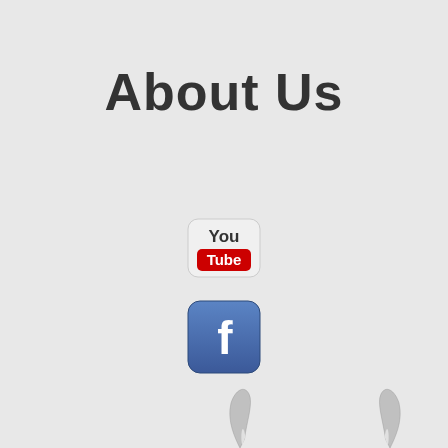About Us
[Figure (logo): YouTube logo icon - red and white rounded rectangle with 'You' above 'Tube' text]
[Figure (logo): Facebook logo icon - blue rounded square with white 'f' letter]
A registered Canadian based webzine.
WHERE METAL REIGNS
[Figure (illustration): Two metallic devil horn hand gesture icons at the bottom of the page]